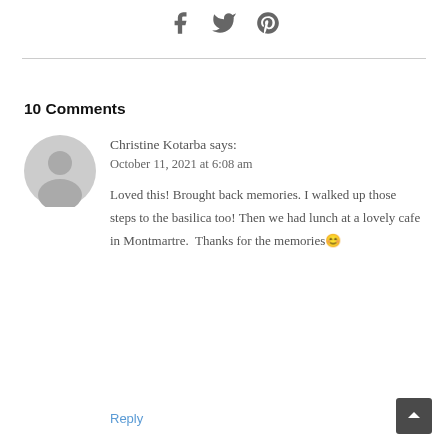[Figure (other): Social media share icons: Facebook, Twitter, Pinterest]
10 Comments
Christine Kotarba says:
October 11, 2021 at 6:08 am

Loved this! Brought back memories. I walked up those steps to the basilica too! Then we had lunch at a lovely cafe in Montmartre. Thanks for the memories 😊
Reply